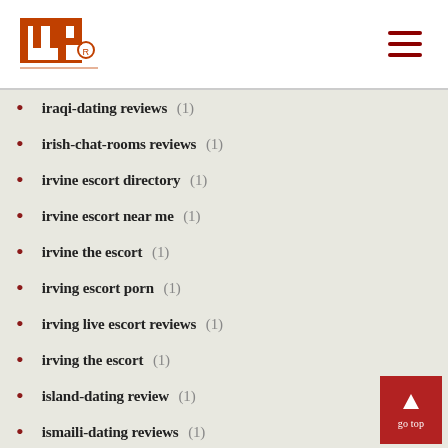INP logo and navigation
iraqi-dating reviews (1)
irish-chat-rooms reviews (1)
irvine escort directory (1)
irvine escort near me (1)
irvine the escort (1)
irving escort porn (1)
irving live escort reviews (1)
irving the escort (1)
island-dating review (1)
ismaili-dating reviews (1)
italy-interracial-dating review (1)